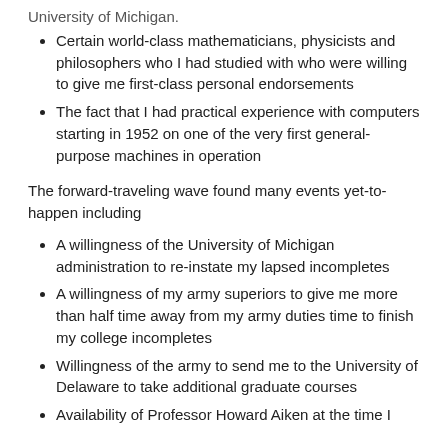Certain world-class mathematicians, physicists and philosophers who I had studied with who were willing to give me first-class personal endorsements
The fact that I had practical experience with computers starting in 1952 on one of the very first general-purpose machines in operation
The forward-traveling wave found many events yet-to-happen including
A willingness of the University of Michigan administration to re-instate my lapsed incompletes
A willingness of my army superiors to give me more than half time away from my army duties time to finish my college incompletes
Willingness of the army to send me to the University of Delaware to take additional graduate courses
Availability of Professor Howard Aiken at the time I